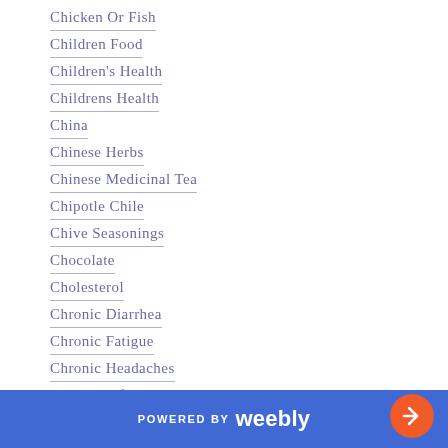Chicken Or Fish
Children Food
Children's Health
Childrens Health
China
Chinese Herbs
Chinese Medicinal Tea
Chipotle Chile
Chive Seasonings
Chocolate
Cholesterol
Chronic Diarrhea
Chronic Fatigue
Chronic Headaches
Chronic Inflammation
Chronic Yeast Infections
Cinnamon Tea
POWERED BY weebly